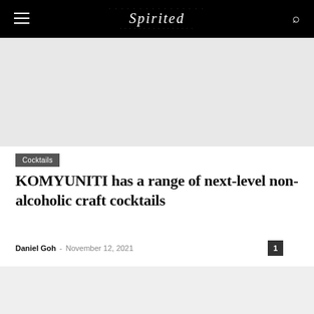Spirited — navigation bar with hamburger menu, logo, and search icon
Cocktails
KOMYUNITI has a range of next-level non-alcoholic craft cocktails
Daniel Goh - November 12, 2021  1